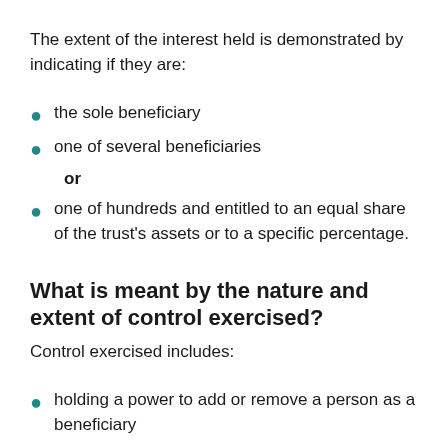The extent of the interest held is demonstrated by indicating if they are:
the sole beneficiary
one of several beneficiaries
or
one of hundreds and entitled to an equal share of the trust's assets or to a specific percentage.
What is meant by the nature and extent of control exercised?
Control exercised includes:
holding a power to add or remove a person as a beneficiary